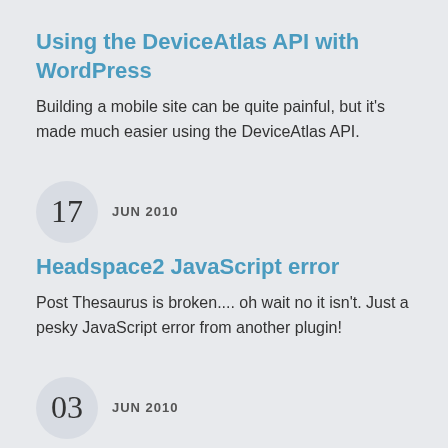Using the DeviceAtlas API with WordPress
Building a mobile site can be quite painful, but it's made much easier using the DeviceAtlas API.
17  JUN 2010
Headspace2 JavaScript error
Post Thesaurus is broken.... oh wait no it isn't. Just a pesky JavaScript error from another plugin!
03  JUN 2010